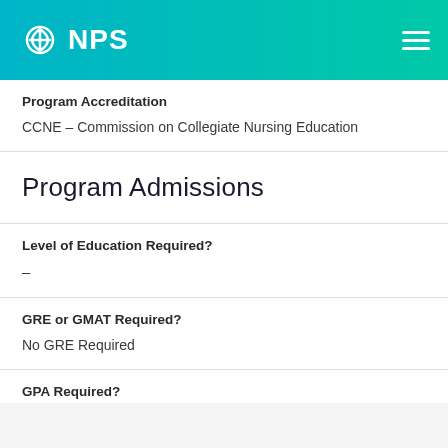NPS
Program Accreditation
CCNE – Commission on Collegiate Nursing Education
Program Admissions
Level of Education Required?
–
GRE or GMAT Required?
No GRE Required
GPA Required?